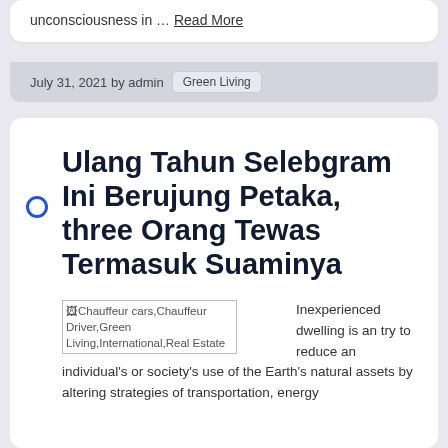unconsciousness in … Read More
July 31, 2021 by admin  Green Living
Ulang Tahun Selebgram Ini Berujung Petaka, three Orang Tewas Termasuk Suaminya
[Chauffeur cars,Chauffeur Driver,Green Living,International,Real Estate]  Inexperienced dwelling is an try to reduce an individual's or society's use of the Earth's natural assets by altering strategies of transportation, energy